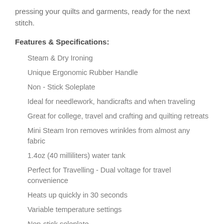pressing your quilts and garments, ready for the next stitch.
Features & Specifications:
Steam & Dry Ironing
Unique Ergonomic Rubber Handle
Non - Stick Soleplate
Ideal for needlework, handicrafts and when traveling
Great for college, travel and crafting and quilting retreats
Mini Steam Iron removes wrinkles from almost any fabric
1.4oz (40 milliliters) water tank
Perfect for Travelling - Dual voltage for travel convenience
Heats up quickly in 30 seconds
Variable temperature settings
Non-stick soleplate
1-touch steam control
Measures 13.4 x 7.6 x 7.6 cm